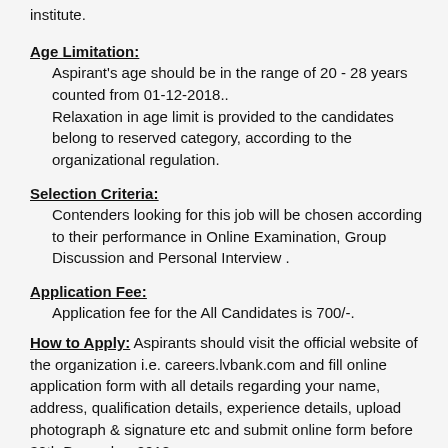institute.
Age Limitation:
Aspirant's age should be in the range of 20 - 28 years counted from 01-12-2018.. Relaxation in age limit is provided to the candidates belong to reserved category, according to the organizational regulation.
Selection Criteria:
Contenders looking for this job will be chosen according to their performance in Online Examination, Group Discussion and Personal Interview .
Application Fee:
Application fee for the All Candidates is 700/-.
How to Apply: Aspirants should visit the official website of the organization i.e. careers.lvbank.com and fill online application form with all details regarding your name, address, qualification details, experience details, upload photograph & signature etc and submit online form before 30th December 2018
Important Date:
Starting Date / Ending Date for Online Application form Is :05-12-2018 to 30-12-2018.